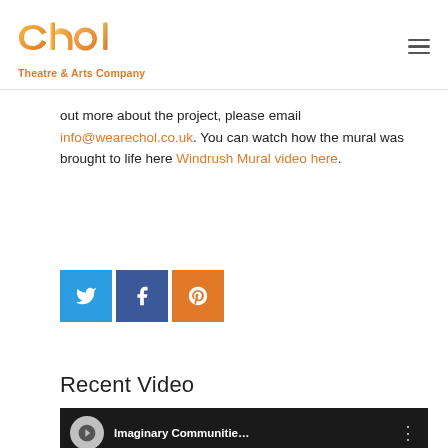chol Theatre & Arts Company
out more about the project, please email info@wearechol.co.uk. You can watch how the mural was brought to life here Windrush Mural video here.
[Figure (infographic): Three social media share buttons: Twitter (blue), Facebook (dark blue), Pinterest (orange), each with their respective icons]
Recent Video
[Figure (screenshot): Video thumbnail showing 'Imaginary Communitie...' with chol logo icon and a dark background with people]